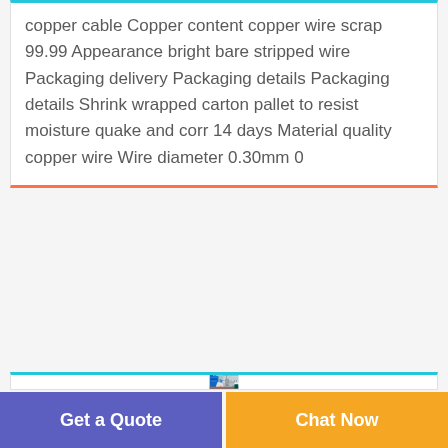copper cable Copper content copper wire scrap 99.99 Appearance bright bare stripped wire Packaging delivery Packaging details Packaging details Shrink wrapped carton pallet to resist moisture quake and corr 14 days Material quality copper wire Wire diameter 0.30mm 0
[Figure (photo): Industrial factory interior showing large blue machinery with blue pipe connectors, cylindrical tanks, and workers in a warehouse-style building with a translucent roof]
Get a Quote
Chat Now